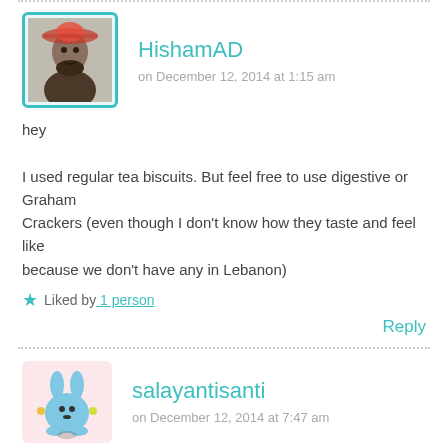HishamAD
on December 12, 2014 at 1:15 am
hey

I used regular tea biscuits. But feel free to use digestive or Graham Crackers (even though I don't know how they taste and feel like because we don't have any in Lebanon)
Liked by 1 person
Reply
salayantisanti
on December 12, 2014 at 7:47 am
Reblogged this on Hello world.!!.